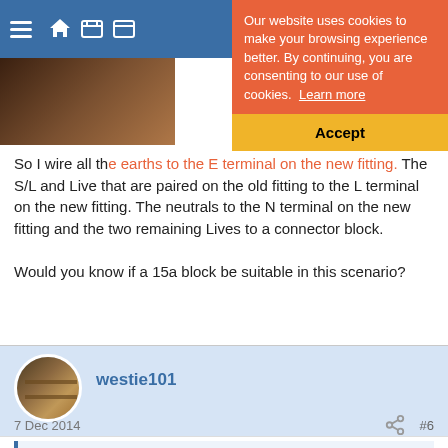[Figure (screenshot): Website navigation bar with hamburger menu and icons on blue background]
[Figure (screenshot): Cookie consent banner overlay - orange background with text 'Our website uses cookies to make your browsing experience better. By continuing, you are consenting to our use of cookies. Learn more' and yellow Accept button]
So I wire all the earths to the E terminal on the new fitting. The S/L and Live that are paired on the old fitting to the L terminal on the new fitting. The neutrals to the N terminal on the new fitting and the two remaining Lives to a connector block.

Would you know if a 15a block be suitable in this scenario?
westie101
7 Dec 2014
#6
So I wire all the earths to the E terminal on the new fitting. The S/L and Live that are paired on the old fitting to the L terminal on the new fitting. The neutrals to the N terminal on the new fitting and the two remaining Lives to a connector block.